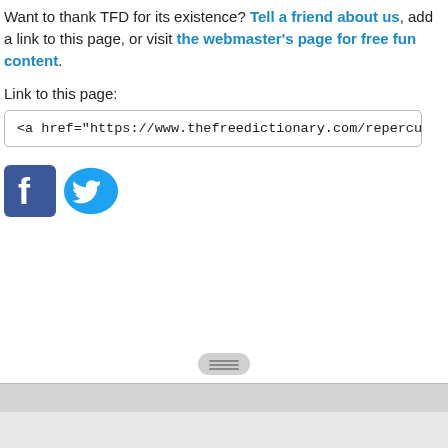Want to thank TFD for its existence? Tell a friend about us, add a link to this page, or visit the webmaster's page for free fun content.
Link to this page:
<a href="https://www.thefreedictionary.com/repercussions">repercussions
[Figure (logo): Facebook and Twitter social media icons]